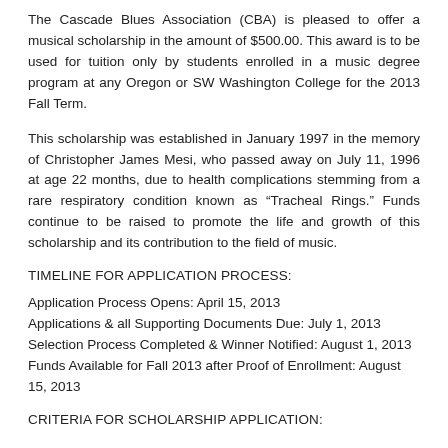The Cascade Blues Association (CBA) is pleased to offer a musical scholarship in the amount of $500.00. This award is to be used for tuition only by students enrolled in a music degree program at any Oregon or SW Washington College for the 2013 Fall Term.
This scholarship was established in January 1997 in the memory of Christopher James Mesi, who passed away on July 11, 1996 at age 22 months, due to health complications stemming from a rare respiratory condition known as “Tracheal Rings.” Funds continue to be raised to promote the life and growth of this scholarship and its contribution to the field of music.
TIMELINE FOR APPLICATION PROCESS:
Application Process Opens: April 15, 2013
Applications & all Supporting Documents Due: July 1, 2013
Selection Process Completed & Winner Notified: August 1, 2013
Funds Available for Fall 2013 after Proof of Enrollment: August 15, 2013
CRITERIA FOR SCHOLARSHIP APPLICATION: